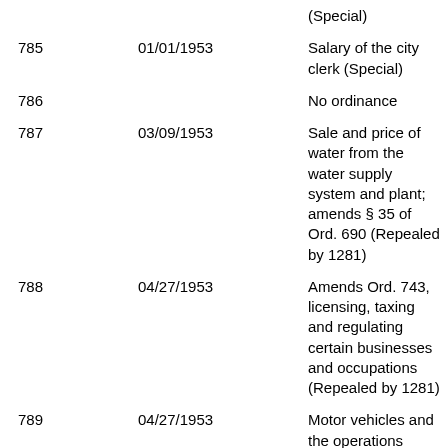| Ordinance | Date | Description |
| --- | --- | --- |
|  |  | (Special) |
| 785 | 01/01/1953 | Salary of the city clerk (Special) |
| 786 |  | No ordinance |
| 787 | 03/09/1953 | Sale and price of water from the water supply system and plant; amends § 35 of Ord. 690 (Repealed by 1281) |
| 788 | 04/27/1953 | Amends Ord. 743, licensing, taxing and regulating certain businesses and occupations (Repealed by 1281) |
| 789 | 04/27/1953 | Motor vehicles and the operations thereof upon the public streets, avenues and public highways (Repealed |